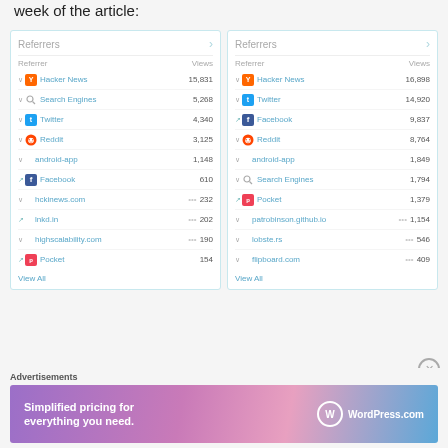week of the article:
| Referrer | Views |
| --- | --- |
| Hacker News | 15,831 |
| Search Engines | 5,268 |
| Twitter | 4,340 |
| Reddit | 3,125 |
| android-app | 1,148 |
| Facebook | 610 |
| hckinews.com | 232 |
| lnkd.in | 202 |
| highscalability.com | 190 |
| Pocket | 154 |
| Referrer | Views |
| --- | --- |
| Hacker News | 16,898 |
| Twitter | 14,920 |
| Facebook | 9,837 |
| Reddit | 8,764 |
| android-app | 1,849 |
| Search Engines | 1,794 |
| Pocket | 1,379 |
| patrobinson.github.io | 1,154 |
| lobste.rs | 546 |
| flipboard.com | 409 |
[Figure (screenshot): WordPress.com advertisement banner reading 'Simplified pricing for everything you need.']